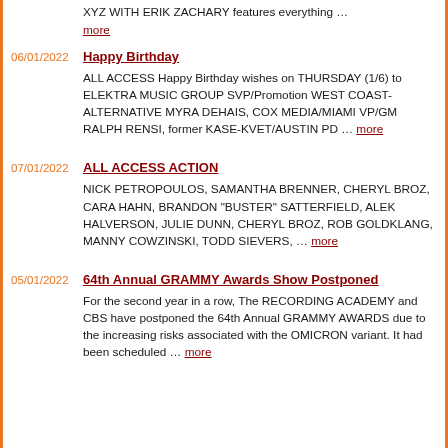XYZ WITH ERIK ZACHARY features everything … more
06/01/2022
Happy Birthday
ALL ACCESS Happy Birthday wishes on THURSDAY (1/6) to ELEKTRA MUSIC GROUP SVP/Promotion WEST COAST-ALTERNATIVE MYRA DEHAIS, COX MEDIA/MIAMI VP/GM RALPH RENSI, former KASE-KVET/AUSTIN PD … more
07/01/2022
ALL ACCESS ACTION
NICK PETROPOULOS, SAMANTHA BRENNER, CHERYL BROZ, CARA HAHN, BRANDON "BUSTER" SATTERFIELD, ALEK HALVERSON, JULIE DUNN, CHERYL BROZ, ROB GOLDKLANG, MANNY COWZINSKI, TODD SIEVERS, … more
05/01/2022
64th Annual GRAMMY Awards Show Postponed
For the second year in a row, The RECORDING ACADEMY and CBS have postponed the 64th Annual GRAMMY AWARDS due to the increasing risks associated with the OMICRON variant. It had been scheduled … more